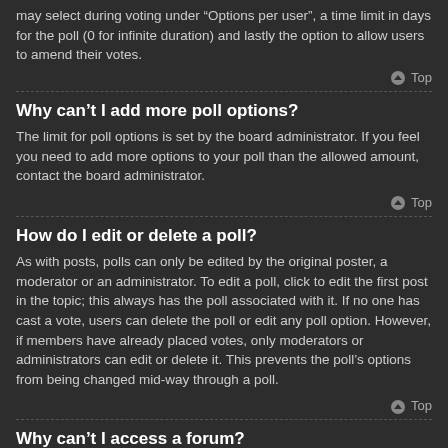may select during voting under “Options per user”, a time limit in days for the poll (0 for infinite duration) and lastly the option to allow users to amend their votes.
▲ Top
Why can’t I add more poll options?
The limit for poll options is set by the board administrator. If you feel you need to add more options to your poll than the allowed amount, contact the board administrator.
▲ Top
How do I edit or delete a poll?
As with posts, polls can only be edited by the original poster, a moderator or an administrator. To edit a poll, click to edit the first post in the topic; this always has the poll associated with it. If no one has cast a vote, users can delete the poll or edit any poll option. However, if members have already placed votes, only moderators or administrators can edit or delete it. This prevents the poll’s options from being changed mid-way through a poll.
▲ Top
Why can’t I access a forum?
Some forums may be limited to certain users or groups. To view, read, post or perform another action you may need special permissions. Contact a moderator or board administrator to grant you access.